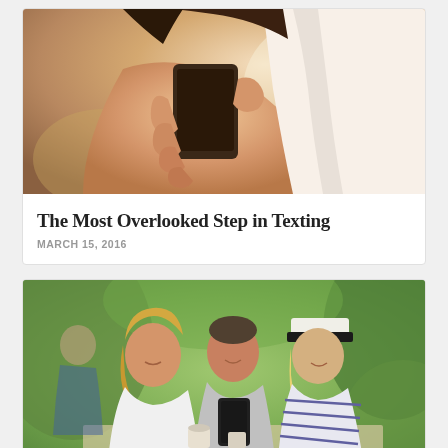[Figure (photo): Close-up photo of a woman's hands holding a small dark smartphone, wearing a white tank top, warm sunlit background]
The Most Overlooked Step in Texting
MARCH 15, 2016
[Figure (photo): Three young people sitting outdoors at a cafe table, smiling and looking at a smartphone held by the young man in the center; lush green foliage in background]